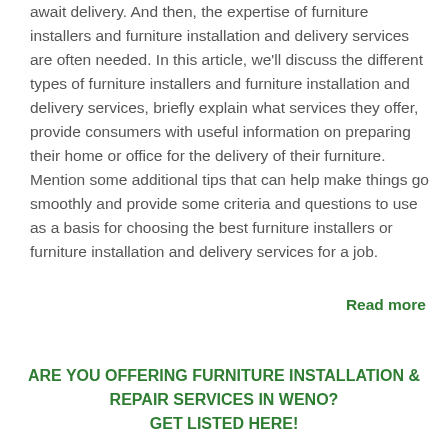await delivery. And then, the expertise of furniture installers and furniture installation and delivery services are often needed. In this article, we'll discuss the different types of furniture installers and furniture installation and delivery services, briefly explain what services they offer, provide consumers with useful information on preparing their home or office for the delivery of their furniture. Mention some additional tips that can help make things go smoothly and provide some criteria and questions to use as a basis for choosing the best furniture installers or furniture installation and delivery services for a job.
Read more
ARE YOU OFFERING FURNITURE INSTALLATION & REPAIR SERVICES IN WENO? GET LISTED HERE!